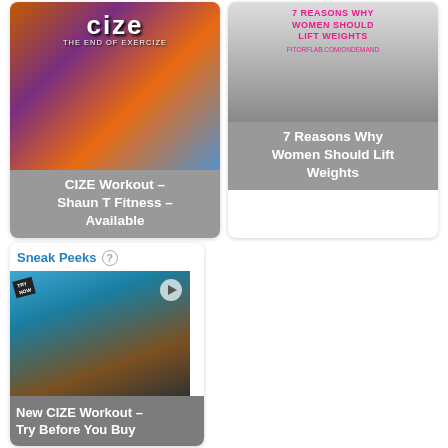[Figure (photo): CIZE Workout card with colorful dance fitness background image and text overlay 'CIZE Workout – Shaun T Fitness – Available']
[Figure (photo): Card showing '7 Reasons Why Women Should Lift Weights' with black and white photo of woman lifting weights and pink title text]
[Figure (photo): Sneak Peeks card with video thumbnail of CIZE workout and caption 'New CIZE Workout – Try Before You Buy']
FILED UNDER: WORKOUTS
TAGGED WITH: BODY BEAST, P90X2
COMMENTS